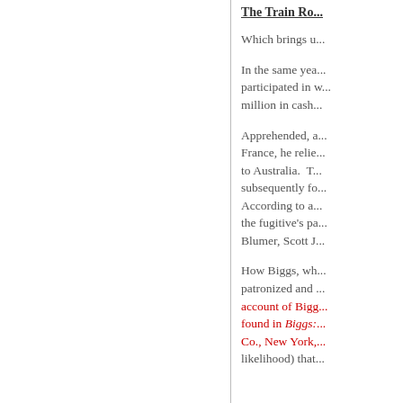The Train Ro...
Which brings u...
In the same yea... participated in w... million in cash...
Apprehended, a... France, he relie... to Australia. T... subsequently fo... According to a... the fugitive's pa... Blumer, Scott J...
How Biggs, wh... patronized and ... account of Bigg... found in Biggs:... Co., New York,... likelihood) that...